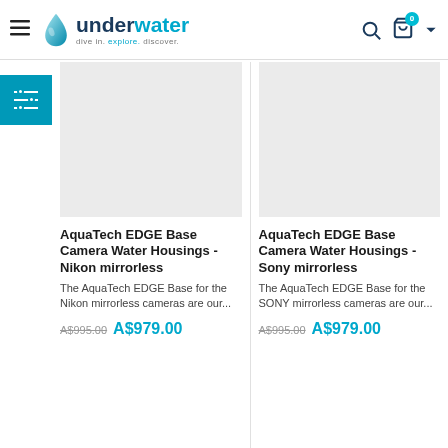underwater – dive in. explore. discover.
[Figure (screenshot): Product image placeholder for AquaTech EDGE Base Camera Water Housings - Nikon mirrorless]
[Figure (screenshot): Product image placeholder for AquaTech EDGE Base Camera Water Housings - Sony mirrorless]
AquaTech EDGE Base Camera Water Housings - Nikon mirrorless
The AquaTech EDGE Base for the Nikon mirrorless cameras are our...
A$995.00  A$979.00
AquaTech EDGE Base Camera Water Housings - Sony mirrorless
The AquaTech EDGE Base for the SONY mirrorless cameras are our...
A$995.00  A$979.00